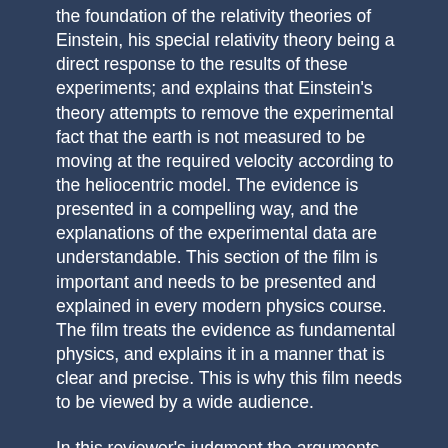the foundation of the relativity theories of Einstein, his special relativity theory being a direct response to the results of these experiments; and explains that Einstein's theory attempts to remove the experimental fact that the earth is not measured to be moving at the required velocity according to the heliocentric model. The evidence is presented in a compelling way, and the explanations of the experimental data are understandable. This section of the film is important and needs to be presented and explained in every modern physics course. The film treats the evidence as fundamental physics, and explains it in a manner that is clear and precise. This is why this film needs to be viewed by a wide audience.
In this reviewer's judgment the arguments presented for the geocentric model are convincing. Geocentrism is not a new or alien idea. The idea that all motion is relative, and that this is an obvious fact, is proclaimed by all the current physics textbooks. Even Galileo used a relativity of